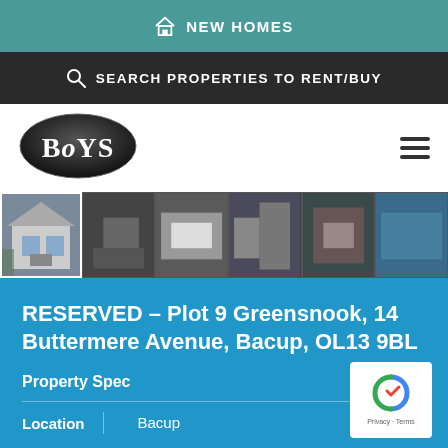NEW HOMES
SEARCH PROPERTIES TO RENT/BUY
[Figure (logo): Boys estate agents oval logo with glossy dark background and white text]
[Figure (photo): Photo strip showing multiple property interior and exterior images; first image highlighted/active showing house exterior]
RESERVED – Plot 9 Greensnook, 14 Buttermere Avenue, Bacup, OL13 9BL
Property Spec
| Location | Bacup |
| --- | --- |
| Location | Bacup |